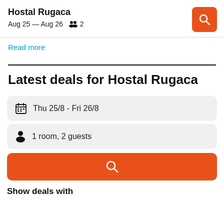Hostal Rugaca
Aug 25 — Aug 26   2
Read more
Latest deals for Hostal Rugaca
Thu 25/8  -  Fri 26/8
1 room, 2 guests
Show deals with